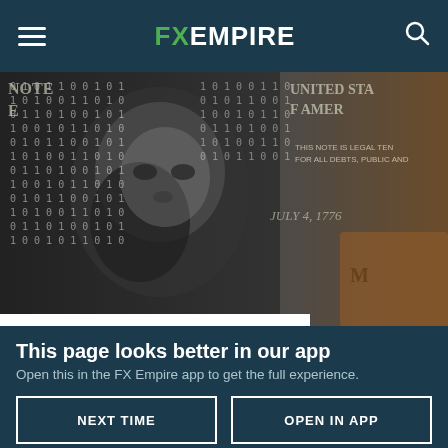FX EMPIRE
[Figure (photo): Close-up of a US $100 bill featuring Benjamin Franklin's portrait overlaid with binary code (zeros and ones), suggesting digital currency. In the background: 'UNITED STATES OF AMERICA', 'THIS NOTE IS LEGAL TENDER FOR ALL DEBTS, PUBLIC AND...', 'JULY 4, 1776'.]
What Would Be the Benefits and Drawbacks of a Digital Dollar?
This page looks better in our app
Open this in the FX Empire app to get the full experience.
NEXT TIME
OPEN IN APP